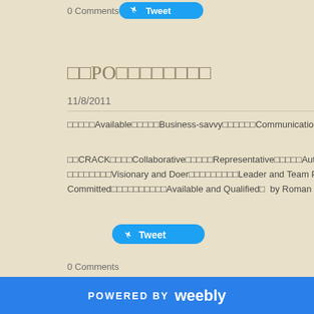0 Comments
□□PO□□□□□□□□
11/8/2011
□□□□□Available□□□□□Business-savvy□□□□□□Communication□□□□Decisive□□□□□□□
□□CRACK□□□□Collaborative□□□□□Representative□□□□□Authorized□□□□□□Committ□□□□□□□□Visionary and Doer□□□□□□□□□Leader and Team Player□□□□□□□□□Commun□□Committed□□□□□□□□□□Available and Qualified□  by Roman Pichler
0 Comments
POWERED BY weebly